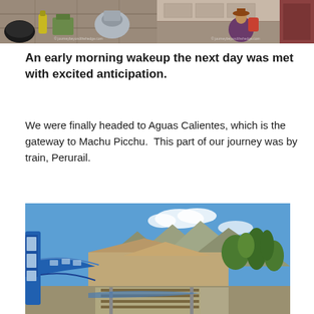[Figure (photo): Two travel photos side by side: left shows luggage and supplies on stone ground, right shows a person crouching near a doorway]
An early morning wakeup the next day was met with excited anticipation.
We were finally headed to Aguas Calientes, which is the gateway to Machu Picchu.  This part of our journey was by train, Perurail.
[Figure (photo): A blue Perurail train traveling along tracks through a mountainous Andean landscape with a river, trees, and rocky hills under a blue sky with clouds]